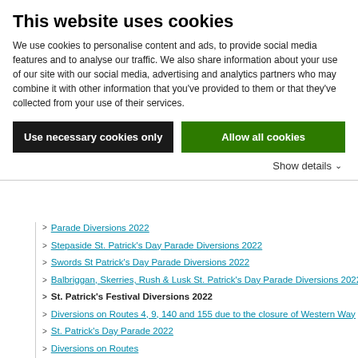This website uses cookies
We use cookies to personalise content and ads, to provide social media features and to analyse our traffic. We also share information about your use of our site with our social media, advertising and analytics partners who may combine it with other information that you've provided to them or that they've collected from your use of their services.
Use necessary cookies only
Allow all cookies
Show details
Parade Diversions 2022
Stepaside St. Patrick's Day Parade Diversions 2022
Swords St Patrick's Day Parade Diversions 2022
Balbriggan, Skerries, Rush & Lusk St. Patrick's Day Parade Diversions 2022
St. Patrick's Festival Diversions 2022
Diversions on Routes 4, 9, 140 and 155 due to the closure of Western Way
St. Patrick's Day Parade 2022
Diversions on Routes